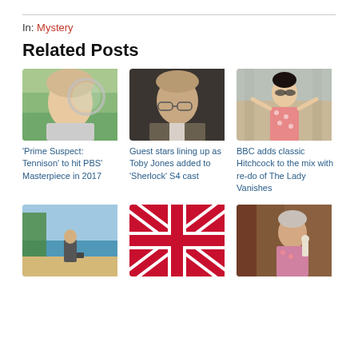In: Mystery
Related Posts
[Figure (photo): Woman with magnifying glass – Prime Suspect scene]
[Figure (photo): Toby Jones – Sherlock actor portrait]
[Figure (photo): Woman in floral dress – The Lady Vanishes]
'Prime Suspect: Tennison' to hit PBS' Masterpiece in 2017
Guest stars lining up as Toby Jones added to 'Sherlock' S4 cast
BBC adds classic Hitchcock to the mix with re-do of The Lady Vanishes
[Figure (photo): Man in suit on beach]
[Figure (photo): Union Jack British flag]
[Figure (photo): Older woman with figurine indoors]